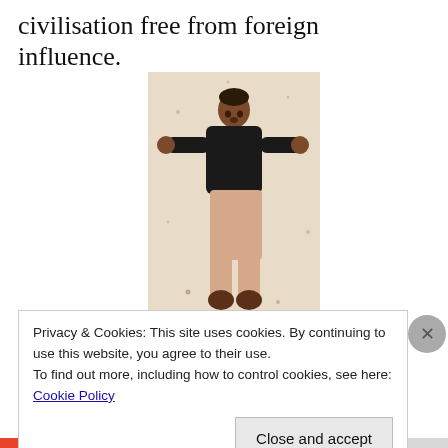civilisation free from foreign influence.
[Figure (illustration): A folk art painting of a standing male figure wearing a dark shirt and light-colored pants, with arms outstretched. Handwritten text at the bottom reads '8 Arno' or similar. The background is aged cream/beige.]
Privacy & Cookies: This site uses cookies. By continuing to use this website, you agree to their use.
To find out more, including how to control cookies, see here: Cookie Policy
Close and accept